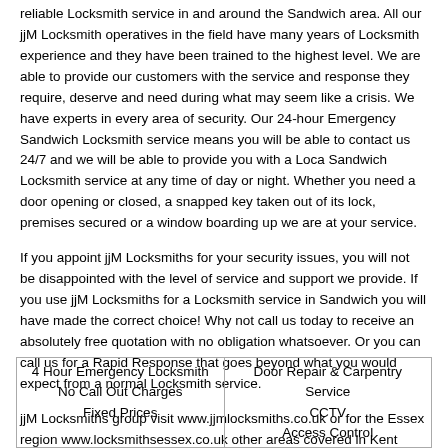reliable Locksmith service in and around the Sandwich area. All our jjM Locksmith operatives in the field have many years of Locksmith experience and they have been trained to the highest level. We are able to provide our customers with the service and response they require, deserve and need during what may seem like a crisis. We have experts in every area of security. Our 24-hour Emergency Sandwich Locksmith service means you will be able to contact us 24/7 and we will be able to provide you with a Loca Sandwich Locksmith service at any time of day or night. Whether you need a door opening or closed, a snapped key taken out of its lock, premises secured or a window boarding up we are at your service.
If you appoint jjM Locksmiths for your security issues, you will not be disappointed with the level of service and support we provide. If you use jjM Locksmiths for a Locksmith service in Sandwich you will have made the correct choice! Why not call us today to receive an absolutely free quotation with no obligation whatsoever. Or you can call us for a Rapid Response that goes beyond what you would expect from a normal Locksmith service.
jjM Locksmiths group visit www.jjmlocksmiths.co.uk or for the Essex region www.locksmithsessex.co.uk other areas covered in Kent include Tonbridge and Whitstable
| 4 Hour Emergency Locksmith
No Call Out Charges
Fixed Prices | Door Repair & Carpentry Service
CCTV
Access Control |